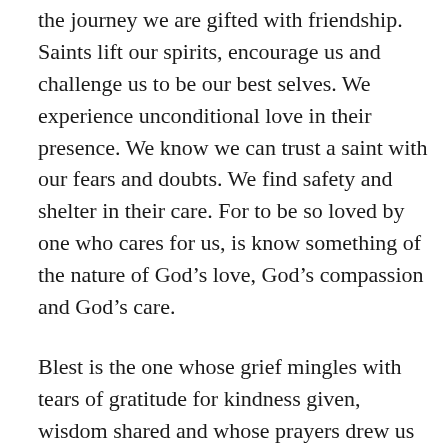the journey we are gifted with friendship. Saints lift our spirits, encourage us and challenge us to be our best selves. We experience unconditional love in their presence. We know we can trust a saint with our fears and doubts. We find safety and shelter in their care. For to be so loved by one who cares for us, is know something of the nature of God’s love, God’s compassion and God’s care.
Blest is the one whose grief mingles with tears of gratitude for kindness given, wisdom shared and whose prayers drew us into the presence of God.   Saints are never truly lost. They live in our hearts, words echoing in our minds. We